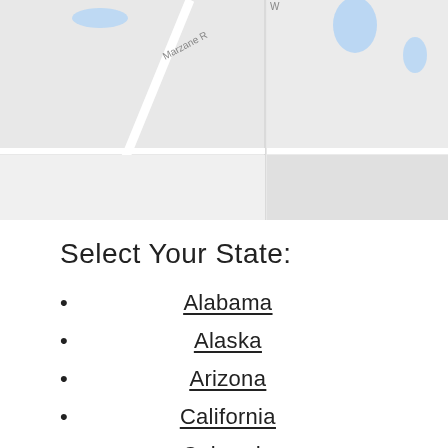[Figure (map): Street map showing road intersections including Marzane Road, 100 N, 1100 N labels, and water features in blue on a light grey background.]
Select Your State:
Alabama
Alaska
Arizona
California
Colorado
Connecticut